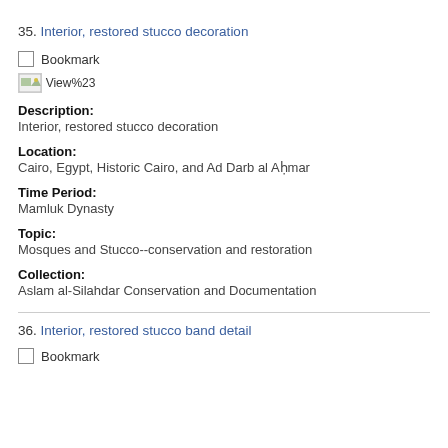35. Interior, restored stucco decoration
Bookmark
[Figure (illustration): Small thumbnail image icon with broken image placeholder labeled View%23]
Description:
Interior, restored stucco decoration
Location:
Cairo, Egypt, Historic Cairo, and Ad Darb al Ahmar
Time Period:
Mamluk Dynasty
Topic:
Mosques and Stucco--conservation and restoration
Collection:
Aslam al-Silahdar Conservation and Documentation
36. Interior, restored stucco band detail
Bookmark